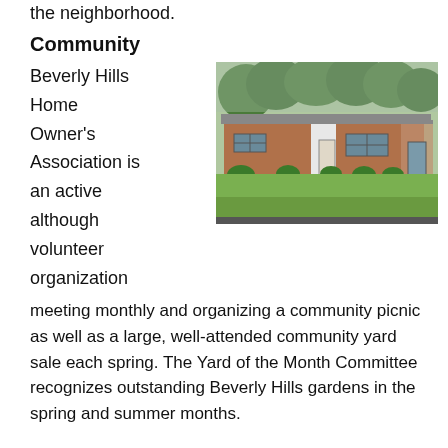the neighborhood.
Community
Beverly Hills Home Owner's Association is an active although volunteer organization
[Figure (photo): Photograph of a single-story brick ranch house with a large green lawn, mature trees in the background, and a carport on the right side.]
meeting monthly and organizing a community picnic as well as a large, well-attended community yard sale each spring. The Yard of the Month Committee recognizes outstanding Beverly Hills gardens in the spring and summer months.